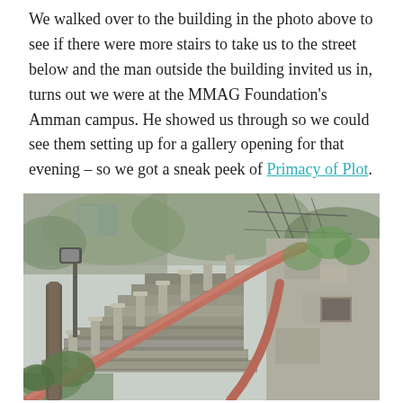We walked over to the building in the photo above to see if there were more stairs to take us to the street below and the man outside the building invited us in, turns out we were at the MMAG Foundation's Amman campus. He showed us through so we could see them setting up for a gallery opening for that evening – so we got a sneak peek of Primacy of Plot.
[Figure (photo): Outdoor stone staircase with ornate concrete balustrades and a curved terracotta/pink handrail, surrounded by trees and greenery, leading upward alongside a weathered stone building wall.]